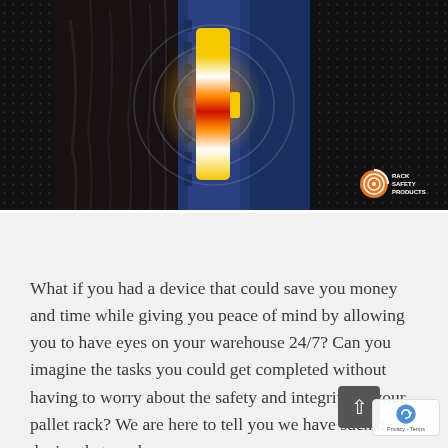[Figure (photo): Thermal image of a yellow sensor device mounted on a blue pallet rack upright. The device shows a heat signature with red-orange thermal glow in the center. The image has concentric radar-circle overlays and a dark dotted background. A 'Rack Safety Products' logo appears in the bottom right corner.]
What if you had a device that could save you money and time while giving you peace of mind by allowing you to have eyes on your warehouse 24/7? Can you imagine the tasks you could get completed without having to worry about the safety and integrity of your pallet rack? We are here to tell you we have such a device that works